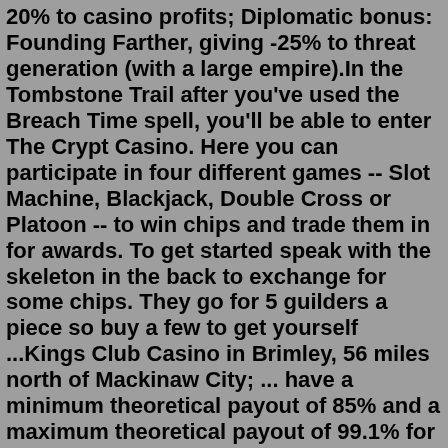20% to casino profits; Diplomatic bonus: Founding Farther, giving -25% to threat generation (with a large empire).In the Tombstone Trail after you've used the Breach Time spell, you'll be able to enter The Crypt Casino. Here you can participate in four different games -- Slot Machine, Blackjack, Double Cross or Platoon -- to win chips and trade them in for awards. To get started speak with the skeleton in the back to exchange for some chips. They go for 5 guilders a piece so buy a few to get yourself ...Kings Club Casino in Brimley, 56 miles north of Mackinaw City; ... have a minimum theoretical payout of 85% and a maximum theoretical payout of 99.1% for Class III Vegas-style games-of-chance. However, ... measures the success of the campaign and calculates its revenue. This cookie can only be read from the domain they are set on and will not ...You will receive 30 bonus spins as part of your 1st deposit at Kings Chance. ... Casino Name: Kings Chance. Established: 2010. License: Curacao. All Games: 1000+ The game lobby at Kings Chance Casino contains slots, table